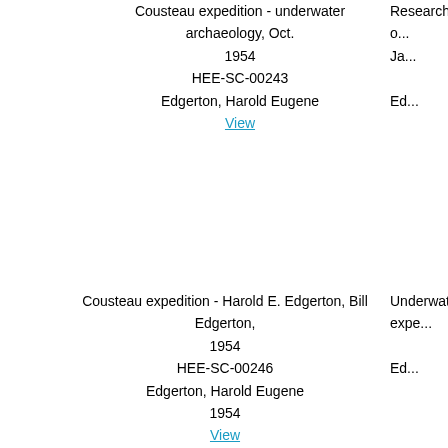Cousteau expedition - underwater archaeology, Oct. 1954
HEE-SC-00243
Edgerton, Harold Eugene
View
Research o...
Ja...
Ed...
Cousteau expedition - Harold E. Edgerton, Bill Edgerton, 1954
HEE-SC-00246
Edgerton, Harold Eugene
1954
View
Underwate...
expe...
Ed...